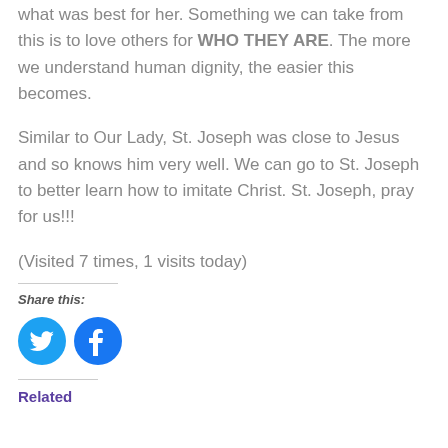what was best for her. Something we can take from this is to love others for WHO THEY ARE. The more we understand human dignity, the easier this becomes.
Similar to Our Lady, St. Joseph was close to Jesus and so knows him very well. We can go to St. Joseph to better learn how to imitate Christ. St. Joseph, pray for us!!!
(Visited 7 times, 1 visits today)
Share this:
[Figure (other): Twitter and Facebook social share icon buttons]
Related